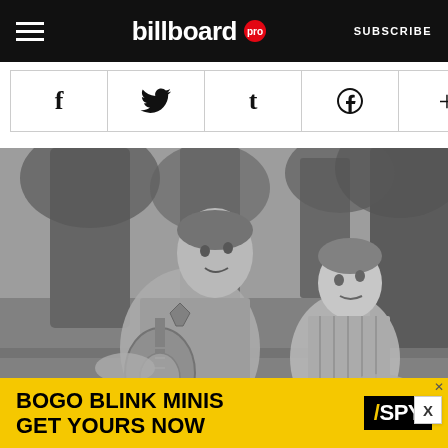billboard pro | SUBSCRIBE
[Figure (other): Social share buttons: f (Facebook), bird/twitter, t (Tumblr), Pinterest, + (more)]
[Figure (photo): Black and white photo of Andy Griffith as Sheriff Andy Taylor playing guitar outdoors with a young boy (Opie), both facing each other and singing or talking.]
Andy Griffith as Sheriff Andy Taylor and Ron Howard as 'Opie Taylor' on T...
[Figure (other): Advertisement banner: BOGO BLINK MINIS GET YOURS NOW with SPY logo on yellow background]